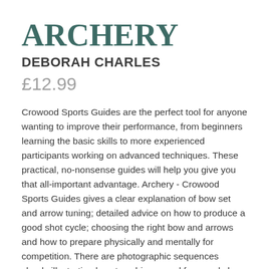ARCHERY
DEBORAH CHARLES
£12.99
Crowood Sports Guides are the perfect tool for anyone wanting to improve their performance, from beginners learning the basic skills to more experienced participants working on advanced techniques. These practical, no-nonsense guides will help you give you that all-important advantage. Archery - Crowood Sports Guides gives a clear explanation of bow set and arrow tuning; detailed advice on how to produce a good shot cycle; choosing the right bow and arrows and how to prepare physically and mentally for competition. There are photographic sequences clearly illustrating how to achieve good form and close up photographs of equipment and accessories. Contents include: practice tips for performance; helpful